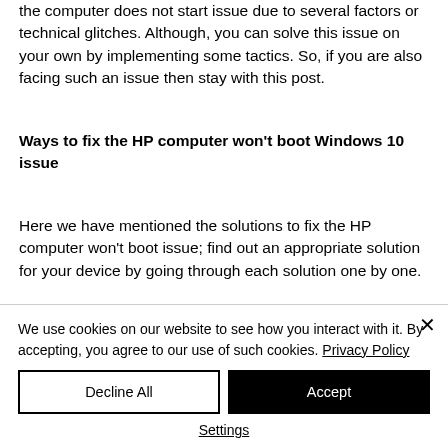the computer does not start issue due to several factors or technical glitches. Although, you can solve this issue on your own by implementing some tactics. So, if you are also facing such an issue then stay with this post.
Ways to fix the HP computer won't boot Windows 10 issue
Here we have mentioned the solutions to fix the HP computer won't boot issue; find out an appropriate solution for your device by going through each solution one by one.
We use cookies on our website to see how you interact with it. By accepting, you agree to our use of such cookies. Privacy Policy